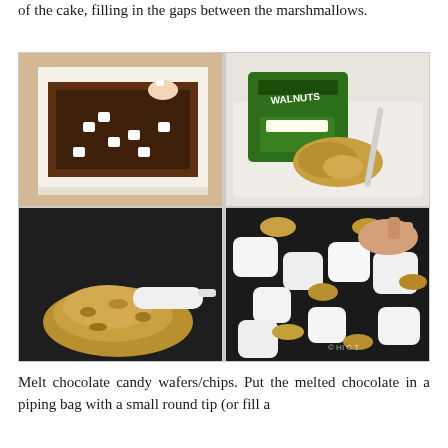of the cake, filling in the gaps between the marshmallows.
[Figure (photo): Four-panel photo grid showing: top-left: chocolate frosted cake with mini marshmallows being placed on top; top-right: a bag of walnuts on a cutting board with chopped walnuts; bottom-left: chopped walnuts piled on a dark surface with a white scoop/spatula; bottom-right: close-up of mini marshmallows and chopped walnuts on a dark surface with a hand holding walnuts, watermark 'HI C... T']
Melt chocolate candy wafers/chips. Put the melted chocolate in a piping bag with a small round tip (or fill a